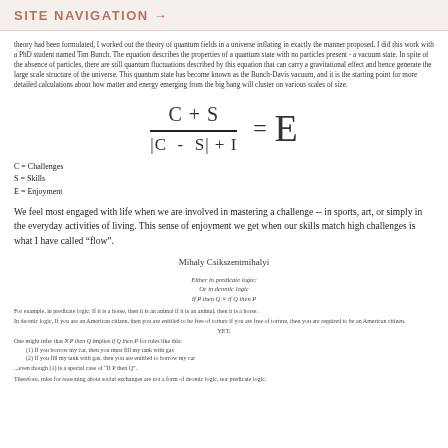SITE NAVIGATION →
theory had been formulated, I worked out the theory of quantum fields in a universe inflating in exactly the manner proposed. I did this work with a PhD student named Tim Bunch. The equation describes the properties of a quantum state with no particles present - a vacuum state. In spite of the absence of particles, there are still quantum fluctuations described by this equation that can carry a gravitational effect and hence generate the large scale structure of the universe. This quantum state has become known as the Bunch-Davis vacuum, and it is the starting point for more detailed calculations about how matter and energy emerging from the big bang will cluster on various scales of size.
C = Challenges
S = Skills
E = Enjoyment
We feel most engaged with life when we are involved in mastering a challenge -- in sports, art, or simply in the everyday activities of living. This sense of enjoyment we get when our skills match high challenges is what I have called "flow".
Mihaly Csikszentmihalyi
Either in predicate logic:
Or in deontic logic
For example, in predicate logic: If it is a horse, then it is an animal if it is an animal, then it is a horse.
In deontic logic, If you are an American citizen, then you are entitled to be free of torture if you are free of torture, then you are required to be an American citizen.
YET:
One might infer that N P then Q implies if Q then P for rules like this:
(1) If you borrow my car, then you must fill my tank with gas
(2) If you fill my tank with gas, then you are entitled to borrow my car
...even though (1) is a special case of "If P then Q".
Therefore, rules for reasoning about social exchanges are not a form of deontic logic, nor predicate logic.